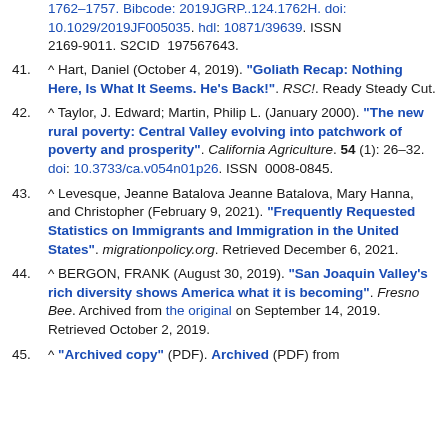(continuation) 1762–1757. Bibcode: 2019JGRP..124.1762H. doi: 10.1029/2019JF005035. hdl: 10871/39639. ISSN 2169-9011. S2CID 197567643.
41. ^ Hart, Daniel (October 4, 2019). "Goliath Recap: Nothing Here, Is What It Seems. He's Back!". RSC!. Ready Steady Cut.
42. ^ Taylor, J. Edward; Martin, Philip L. (January 2000). "The new rural poverty: Central Valley evolving into patchwork of poverty and prosperity". California Agriculture. 54 (1): 26–32. doi: 10.3733/ca.v054n01p26. ISSN 0008-0845.
43. ^ Levesque, Jeanne Batalova Jeanne Batalova, Mary Hanna, and Christopher (February 9, 2021). "Frequently Requested Statistics on Immigrants and Immigration in the United States". migrationpolicy.org. Retrieved December 6, 2021.
44. ^ BERGON, FRANK (August 30, 2019). "San Joaquin Valley's rich diversity shows America what it is becoming". Fresno Bee. Archived from the original on September 14, 2019. Retrieved October 2, 2019.
45. ^ "Archived copy" (PDF). Archived (PDF) from